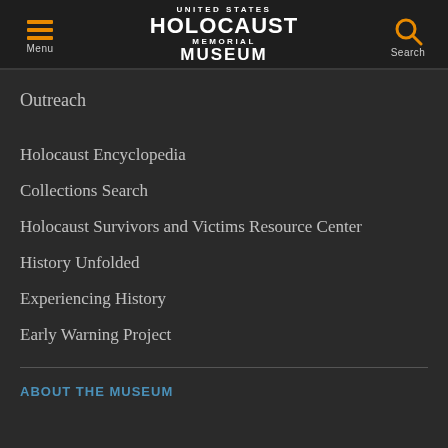UNITED STATES HOLOCAUST MEMORIAL MUSEUM
Outreach
Holocaust Encyclopedia
Collections Search
Holocaust Survivors and Victims Resource Center
History Unfolded
Experiencing History
Early Warning Project
ABOUT THE MUSEUM